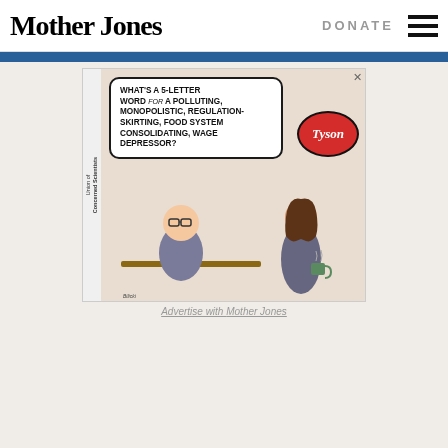Mother Jones | DONATE
[Figure (illustration): Advertisement cartoon: A man doing a crossword puzzle at a desk asks 'What's a 5-letter word for a polluting, monopolistic, regulation-skirting, food system consolidating, wage depressor?' with a Tyson Foods branded speech bubble response. A woman holding a coffee mug stands nearby looking shocked. Labeled Union of Concerned Scientists / Bilicki.]
Advertise with Mother Jones